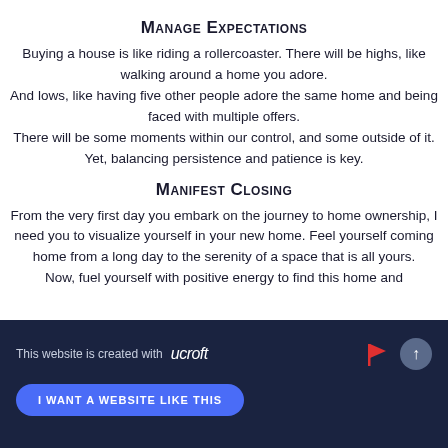Manage Expectations
Buying a house is like riding a rollercoaster. There will be highs, like walking around a home you adore. And lows, like having five other people adore the same home and being faced with multiple offers. There will be some moments within our control, and some outside of it. Yet, balancing persistence and patience is key.
Manifest Closing
From the very first day you embark on the journey to home ownership, I need you to visualize yourself in your new home. Feel yourself coming home from a long day to the serenity of a space that is all yours. Now, fuel yourself with positive energy to find this home and
This website is created with ucraft | I WANT A WEBSITE LIKE THIS